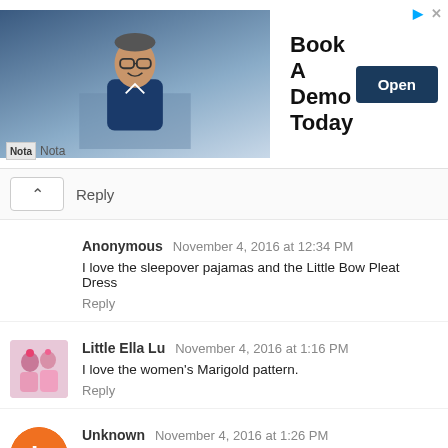[Figure (infographic): Advertisement banner: photo of a man at a desk, text 'Book A Demo Today', blue 'Open' button, Nota branding]
Reply
Anonymous  November 4, 2016 at 12:34 PM
I love the sleepover pajamas and the Little Bow Pleat Dress
Reply
Little Ella Lu  November 4, 2016 at 1:16 PM
I love the women's Marigold pattern.
Reply
Unknown  November 4, 2016 at 1:26 PM
I would love to try the Forsythe Trousers!